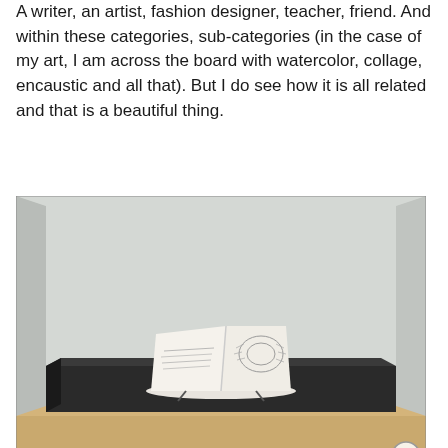A writer, an artist, fashion designer, teacher, friend. And within these categories, sub-categories (in the case of my art, I am across the board with watercolor, collage, encaustic and all that). But I do see how it is all related and that is a beautiful thing.
[Figure (photo): An open sketchbook or artist's book displayed on a black pedestal inside a glass museum display case. The book is open to a page showing handwriting on the left and a decorative illustration on the right. The case sits on a wooden base.]
Advertisements